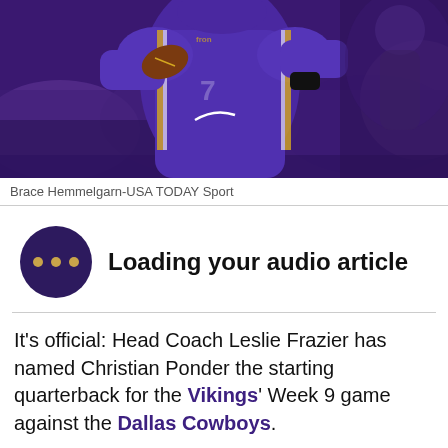[Figure (photo): Football player in purple Minnesota Vikings uniform holding a football in throwing position, with crowd in background]
Brace Hemmelgarn-USA TODAY Sport
Loading your audio article
It's official: Head Coach Leslie Frazier has named Christian Ponder the starting quarterback for the Vikings' Week 9 game against the Dallas Cowboys.